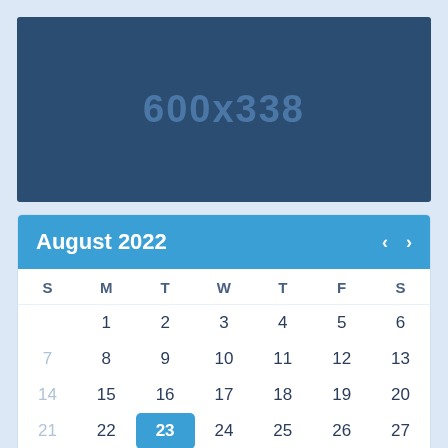[Figure (other): Image placeholder showing dimensions 600x338 on a dark blue background]
| S | M | T | W | T | F | S |
| --- | --- | --- | --- | --- | --- | --- |
|  | 1 | 2 | 3 | 4 | 5 | 6 |
| 7 | 8 | 9 | 10 | 11 | 12 | 13 |
| 14 | 15 | 16 | 17 | 18 | 19 | 20 |
| 21 | 22 | 23 | 24 | 25 | 26 | 27 |
| 28 | 29 | 30 | 31 |  |  |  |